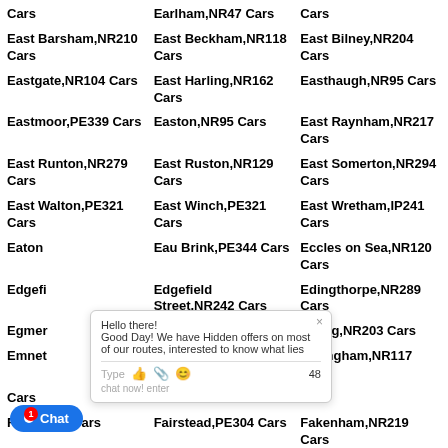Earlham,NR47 Cars
Cars
East Barsham,NR210 Cars
East Beckham,NR118 Cars
East Bilney,NR204 Cars
Eastgate,NR104 Cars
East Harling,NR162 Cars
Easthaugh,NR95 Cars
Eastmoor,PE339 Cars
Easton,NR95 Cars
East Raynham,NR217 Cars
East Runton,NR279 Cars
East Ruston,NR129 Cars
East Somerton,NR294 Cars
East Walton,PE321 Cars
East Winch,PE321 Cars
East Wretham,IP241 Cars
Eaton
Eau Brink,PE344 Cars
Eccles on Sea,NR120 Cars
Edgefield
Edgefield Street,NR242 Cars
Edingthorpe,NR289 Cars
Egmer
Ellingham,NR352 Cars
Elsing,NR203 Cars
Emnet
Emorsgate,PE344 Cars
Erpingham,NR117 Cars
Cars
F PE321 Cars
Fairstead,PE304 Cars
Fakenham,NR219 Cars
Felmin NR200